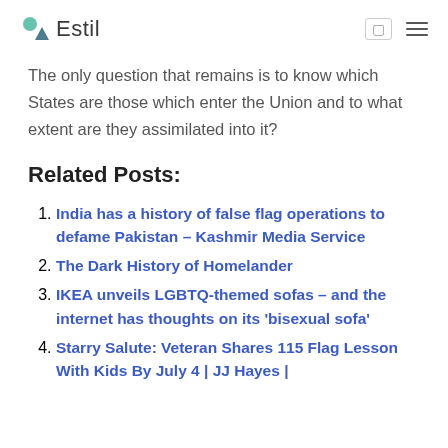Estil
The only question that remains is to know which States are those which enter the Union and to what extent are they assimilated into it?
Related Posts:
India has a history of false flag operations to defame Pakistan – Kashmir Media Service
The Dark History of Homelander
IKEA unveils LGBTQ-themed sofas – and the internet has thoughts on its 'bisexual sofa'
Starry Salute: Veteran Shares 115 Flag Lesson With Kids By July 4 | JJ Hayes |